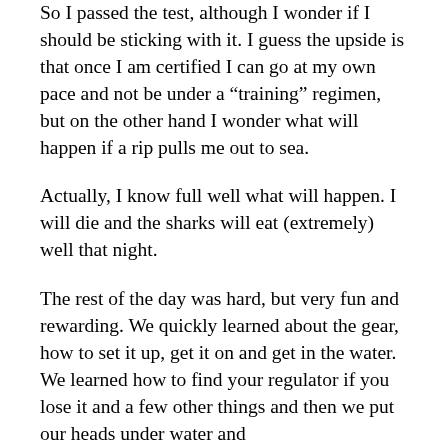So I passed the test, although I wonder if I should be sticking with it. I guess the upside is that once I am certified I can go at my own pace and not be under a “training” regimen, but on the other hand I wonder what will happen if a rip pulls me out to sea.
Actually, I know full well what will happen. I will die and the sharks will eat (extremely) well that night.
The rest of the day was hard, but very fun and rewarding. We quickly learned about the gear, how to set it up, get it on and get in the water. We learned how to find your regulator if you lose it and a few other things and then we put our heads under water and breeeeeeeeeeaaathhhhhed! THAT was a weird feeling. I got used to it really fast, but I felt like I was breathing too hard and too fast all day. Turned out I wasn’t doing any worse than anyone else. I talked to